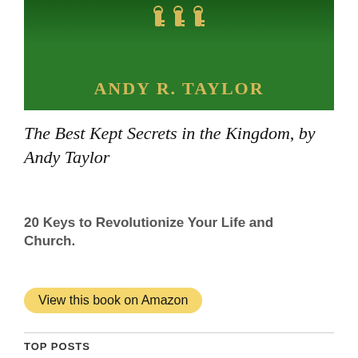[Figure (illustration): Book cover with dark green background showing 'ANDY R. TAYLOR' in gold text, with gold key decorative elements at the top]
The Best Kept Secrets in the Kingdom, by Andy Taylor
20 Keys to Revolutionize Your Life and Church.
View this book on Amazon
TOP POSTS